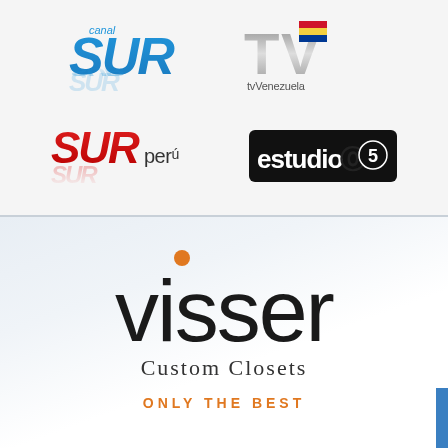[Figure (logo): Canal Sur logo in blue stylized text]
[Figure (logo): TV Venezuela logo with Venezuelan flag colors]
[Figure (logo): Sur Peru logo in red stylized text]
[Figure (logo): Estudio 5 logo in black bold text]
[Figure (logo): Visser Custom Closets logo with orange dot accent and tagline ONLY THE BEST]